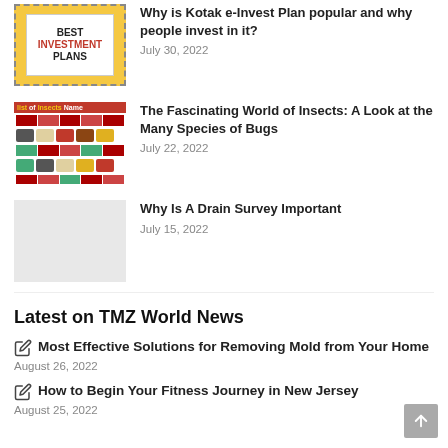[Figure (illustration): Best Investment Plans thumbnail with yellow background and white inner card]
Why is Kotak e-Invest Plan popular and why people invest in it?
July 30, 2022
[Figure (illustration): List of Insects Names infographic thumbnail with red header and insect images]
The Fascinating World of Insects: A Look at the Many Species of Bugs
July 22, 2022
[Figure (illustration): Gray placeholder thumbnail]
Why Is A Drain Survey Important
July 15, 2022
Latest on TMZ World News
Most Effective Solutions for Removing Mold from Your Home
August 26, 2022
How to Begin Your Fitness Journey in New Jersey
August 25, 2022